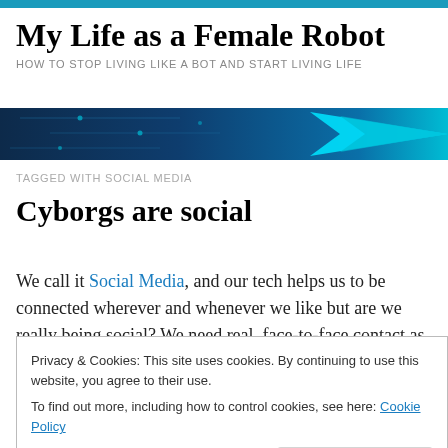My Life as a Female Robot
HOW TO STOP LIVING LIKE A BOT AND START LIVING LIFE
[Figure (illustration): Decorative banner image with blue technology/circuit board background and cyan arrow motif]
TAGGED WITH SOCIAL MEDIA
Cyborgs are social
We call it Social Media, and our tech helps us to be connected wherever and whenever we like but are we really being social? We need real, face-to-face contact as
Privacy & Cookies: This site uses cookies. By continuing to use this website, you agree to their use.
To find out more, including how to control cookies, see here: Cookie Policy
need to see another robot, but don't only communicate